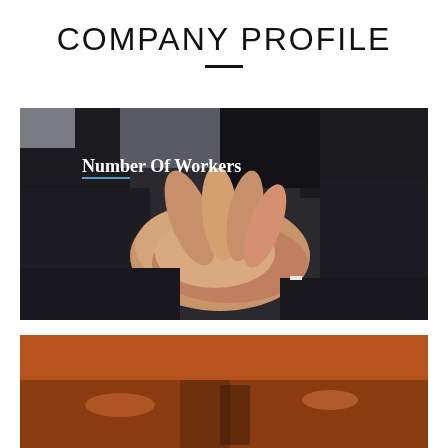COMPANY PROFILE
[Figure (photo): Business professionals in dark suits stacking hands together in a team gesture. Text overlay reads 'Number Of Workers' with a blue underline accent.]
[Figure (photo): Partial view of a second image showing objects on a table, partially visible at bottom of page.]